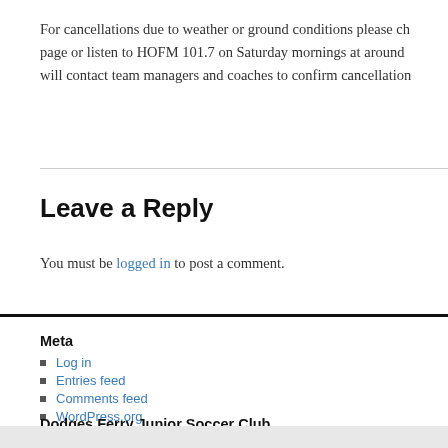For cancellations due to weather or ground conditions please ch... page or listen to HOFM 101.7 on Saturday mornings at around ... will contact team managers and coaches to confirm cancellation...
Leave a Reply
You must be logged in to post a comment.
Meta
Log in
Entries feed
Comments feed
WordPress.org
Dodges Ferry Junior Soccer Club